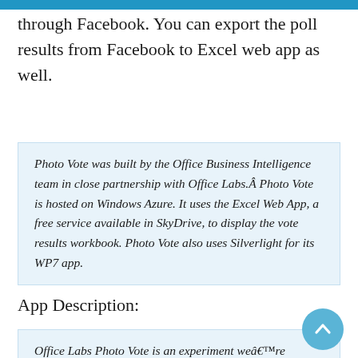through Facebook. You can export the poll results from Facebook to Excel web app as well.
Photo Vote was built by the Office Business Intelligence team in close partnership with Office Labs.Â Photo Vote is hosted on Windows Azure. It uses the Excel Web App, a free service available in SkyDrive, to display the vote results workbook. Photo Vote also uses Silverlight for its WP7 app.
App Description:
Office Labs Photo Vote is an experiment weâ€™re running through the end of 2011, designed to let you quickly gather input from your Facebook friends via